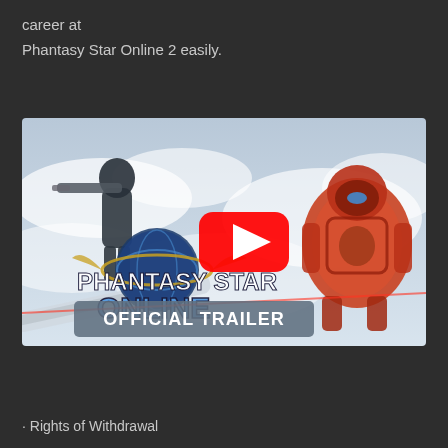career at
Phantasy Star Online 2 easily.
[Figure (screenshot): YouTube video thumbnail for Phantasy Star Online 2 Official Trailer showing game characters and logo with a red YouTube play button overlay and 'OFFICIAL TRAILER' text banner at the bottom.]
Rights of Withdrawal